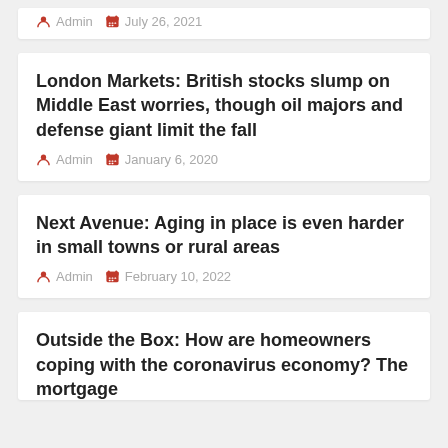Admin   July 26, 2021
London Markets: British stocks slump on Middle East worries, though oil majors and defense giant limit the fall
Admin   January 6, 2020
Next Avenue: Aging in place is even harder in small towns or rural areas
Admin   February 10, 2022
Outside the Box: How are homeowners coping with the coronavirus economy? The mortgage